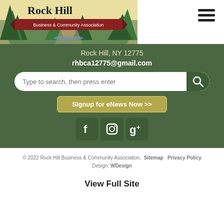[Figure (logo): Rock Hill Business & Community Association logo with pine trees, mountain landscape, and banner]
Rock Hill, NY 12775
rhbca12775@gmail.com
Type to search, then press enter
Signup for eNews Now >>
[Figure (illustration): Social media icons: Facebook, Instagram, Google+]
© 2022 Rock Hill Business & Community Association. Sitemap Privacy Policy Design: WDesign
View Full Site